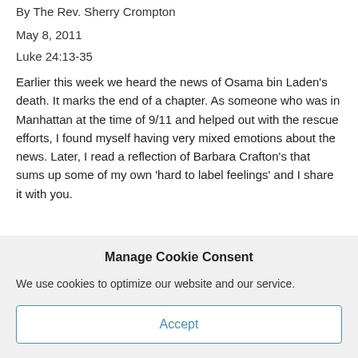By The Rev. Sherry Crompton
May 8, 2011
Luke 24:13-35
Earlier this week we heard the news of Osama bin Laden’s death. It marks the end of a chapter. As someone who was in Manhattan at the time of 9/11 and helped out with the rescue efforts, I found myself having very mixed emotions about the news. Later, I read a reflection of Barbara Crafton’s that sums up some of my own ‘hard to label feelings’ and I share it with you.
Manage Cookie Consent
We use cookies to optimize our website and our service.
Accept